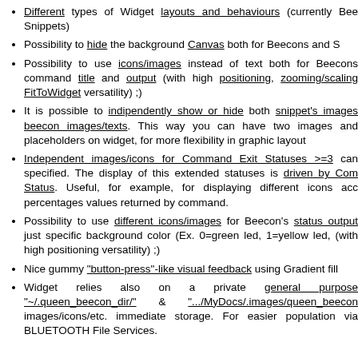Different types of Widget layouts and behaviours (currently Bee Snippets)
Possibility to hide the background Canvas both for Beecons and S
Possibility to use icons/images instead of text both for Beecons command title and output (with high positioning, zooming/scaling FitToWidget versatility) ;)
It is possible to indipendently show or hide both snippet's images beecon images/texts. This way you can have two images and placeholders on widget, for more flexibility in graphic layout
Independent images/icons for Command Exit Statuses >=3 can specified. The display of this extended statuses is driven by Com Status. Useful, for example, for displaying different icons acc percentages values returned by command.
Possibility to use different icons/images for Beecon's status output just specific background color (Ex. 0=green led, 1=yellow led, (with high positioning versatility) ;)
Nice gummy "button-press"-like visual feedback using Gradient fill
Widget relies also on a private general purpose "~/.queen_beecon_dir/" & ".../MyDocs/.images/queen_beecon images/icons/etc. immediate storage. For easier population via BLUETOOTH File Services.